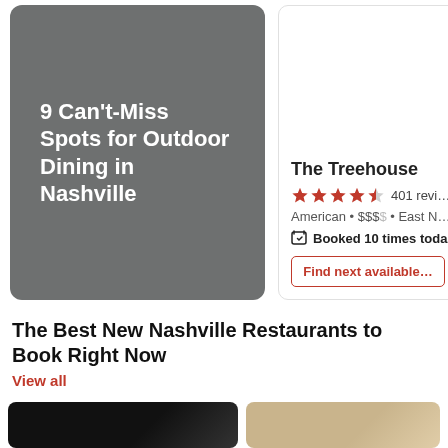[Figure (illustration): Gray card with white bold text: 9 Can't-Miss Spots for Outdoor Dining in Nashville]
9 Can't-Miss Spots for Outdoor Dining in Nashville
[Figure (screenshot): Restaurant card for The Treehouse showing 4.5 stars, 401 reviews, American, $$$$, East Nashville, Booked 10 times today, Find next available button]
The Best New Nashville Restaurants to Book Right Now
View all
[Figure (photo): Dark restaurant interior thumbnail]
[Figure (photo): Light interior restaurant thumbnail]